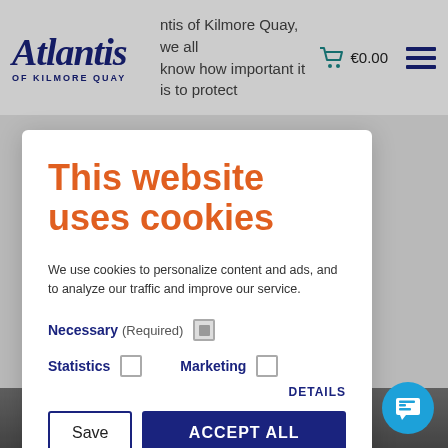[Figure (screenshot): Atlantis of Kilmore Quay website header with logo, cart icon showing €0.00, and hamburger menu]
This website uses cookies
We use cookies to personalize content and ads, and to analyze our traffic and improve our service.
Necessary (Required) [checked] Statistics [ ] Marketing [ ]
DETAILS
Save | ACCEPT ALL